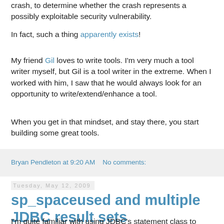crash, to determine whether the crash represents a possibly exploitable security vulnerability.
In fact, such a thing apparently exists!
My friend Gil loves to write tools. I'm very much a tool writer myself, but Gil is a tool writer in the extreme. When I worked with him, I saw that he would always look for an opportunity to write/extend/enhance a tool.
When you get in that mindset, and stay there, you start building some great tools.
Bryan Pendleton at 9:20 AM    No comments:
Tuesday, May 12, 2009
sp_spaceused and multiple JDBC result sets
I'm quite familiar with using JDBC's statement class to execute a query and return a result set: